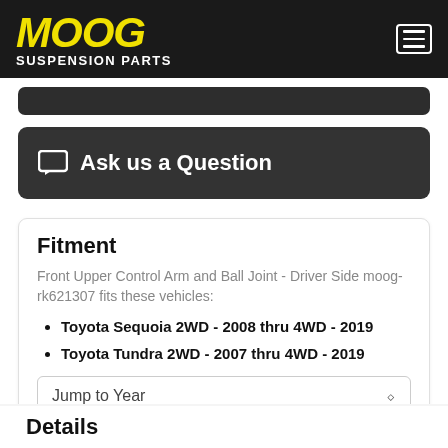MOOG SUSPENSION PARTS
Ask us a Question
Fitment
Front Upper Control Arm and Ball Joint - Driver Side moog-rk621307 fits these vehicles:
Toyota Sequoia 2WD - 2008 thru 4WD - 2019
Toyota Tundra 2WD - 2007 thru 4WD - 2019
Jump to Year
Details